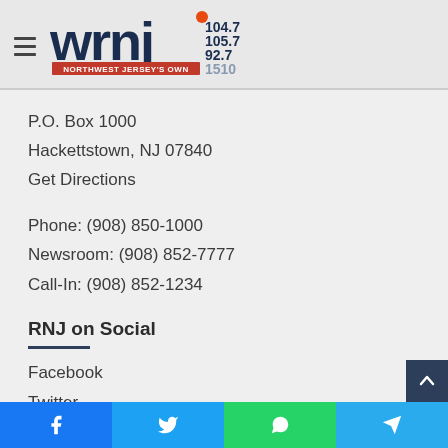[Figure (logo): WRNJ radio station logo with frequencies 104.7, 105.7, 92.7, 1510 and tagline NORTHWEST JERSEY'S OWN]
P.O. Box 1000
Hackettstown, NJ 07840
Get Directions
Phone: (908) 850-1000
Newsroom: (908) 852-7777
Call-In: (908) 852-1234
RNJ on Social
Facebook
Twitter